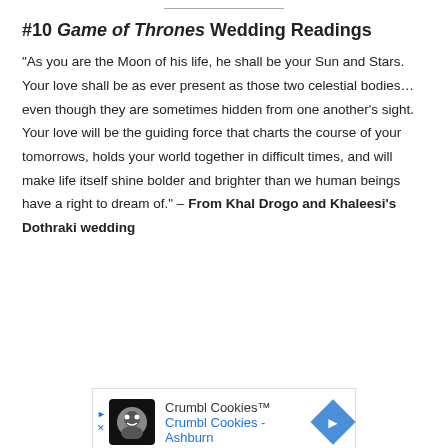#10 Game of Thrones Wedding Readings
“As you are the Moon of his life, he shall be your Sun and Stars. Your love shall be as ever present as those two celestial bodies…even though they are sometimes hidden from one another’s sight. Your love will be the guiding force that charts the course of your tomorrows, holds your world together in difficult times, and will make life itself shine bolder and brighter than we human beings have a right to dream of.” – From Khal Drogo and Khaleesi’s Dothraki wedding
[Figure (other): Advertisement for Crumbl Cookies - Crumbl Cookies Ashburn with logo and navigation arrow]